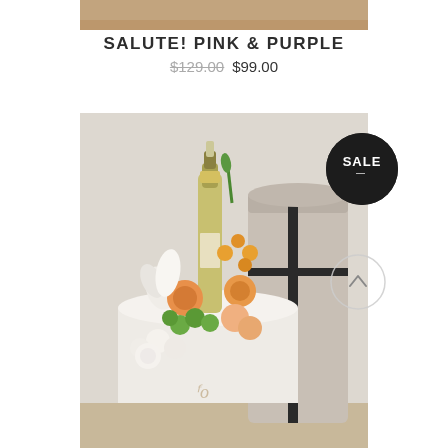[Figure (photo): Partial top edge of a wooden table or surface, cropped strip at top of page]
SALUTE! PINK & PURPLE
$129.00  $99.00
[Figure (photo): Product photo of a floral arrangement with a champagne bottle, orange and white flowers in a white cylindrical box, next to a tall cylindrical gift box with a black ribbon, SALE badge in upper right, scroll-up button overlay in lower right]